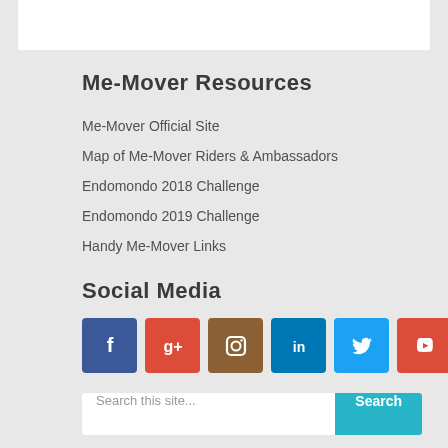[Figure (other): White rectangular box at the top of the page]
Me-Mover Resources
Me-Mover Official Site
Map of Me-Mover Riders & Ambassadors
Endomondo 2018 Challenge
Endomondo 2019 Challenge
Handy Me-Mover Links
Social Media
[Figure (infographic): Social media icon buttons: Facebook (blue), Google+ (red), Instagram (brown), LinkedIn (blue), Twitter (light blue), YouTube (red)]
Search this site...